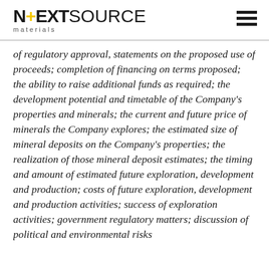NEXTSOURCE materials
of regulatory approval, statements on the proposed use of proceeds; completion of financing on terms proposed; the ability to raise additional funds as required; the development potential and timetable of the Company's properties and minerals; the current and future price of minerals the Company explores; the estimated size of mineral deposits on the Company's properties; the realization of those mineral deposit estimates; the timing and amount of estimated future exploration, development and production; costs of future exploration, development and production activities; success of exploration activities; government regulatory matters; discussion of political and environmental risks